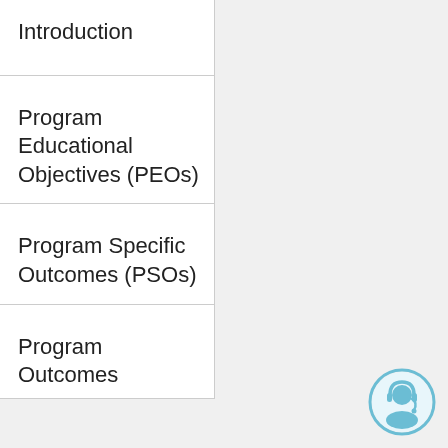Introduction
Program Educational Objectives (PEOs)
Program Specific Outcomes (PSOs)
Program Outcomes
[Figure (illustration): Support/headset person icon in blue circle, bottom right corner]